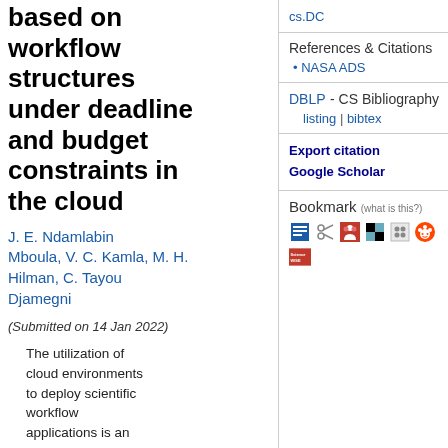based on workflow structures under deadline and budget constraints in the cloud
J. E. Ndamlabin Mboula, V. C. Kamla, M. H. Hilman, C. Tayou Djamegni
(Submitted on 14 Jan 2022)
The utilization of cloud environments to deploy scientific workflow applications is an
cs.DC
References & Citations
NASA ADS
DBLP - CS Bibliography
listing | bibtex
Export citation
Google Scholar
Bookmark (what is this?)